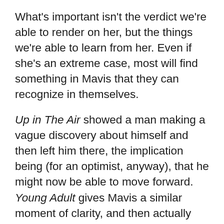What's important isn't the verdict we're able to render on her, but the things we're able to learn from her. Even if she's an extreme case, most will find something in Mavis that they can recognize in themselves.

Up in The Air showed a man making a vague discovery about himself and then left him there, the implication being (for an optimist, anyway), that he might now be able to move forward. Young Adult gives Mavis a similar moment of clarity, and then actually shows her delight in finding a way to avoid it. The wrong interaction at the wrong time (a chat with Matt's Mavis-worshipping sister Sandra, played by Collette Wolfe), gives her not only a...